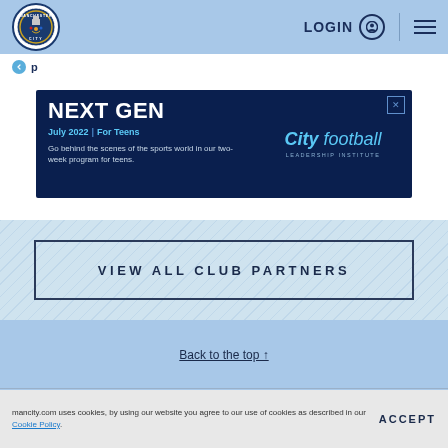Manchester City | LOGIN | Menu
[Figure (logo): Manchester City FC circular crest logo]
NEXT GEN | July 2022 | For Teens | Go behind the scenes of the sports world in our two-week program for teens. | City football LEADERSHIP INSTITUTE
VIEW ALL CLUB PARTNERS
Back to the top ↑
mancity.com uses cookies, by using our website you agree to our use of cookies as described in our Cookie Policy.
ACCEPT